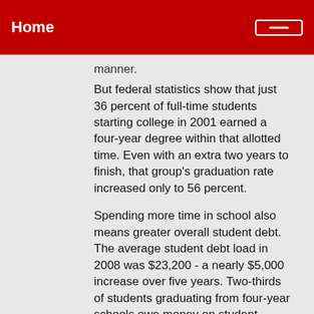Home
manner.
But federal statistics show that just 36 percent of full-time students starting college in 2001 earned a four-year degree within that allotted time. Even with an extra two years to finish, that group's graduation rate increased only to 56 percent.
Spending more time in school also means greater overall student debt. The average student debt load in 2008 was $23,200 - a nearly $5,000 increase over five years. Two-thirds of students graduating from four-year schools owe money on student loans.
And while the unemployment rate for college graduates still trails the rate for high school graduates (4.9 percent